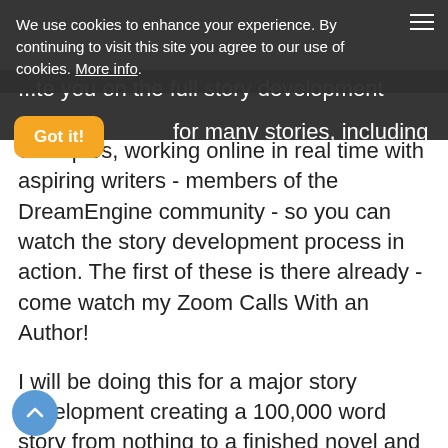We use cookies to enhance your experience. By continuing to visit this site you agree to our use of cookies. More info.
...to guide you on the full story development for many stories, including live examples, working online in real time with aspiring writers - members of the DreamEngine community - so you can watch the story development process in action. The first of these is there already - come watch my Zoom Calls With an Author!
I will be doing this for a major story development creating a 100,000 word story from nothing to a finished novel and feature length movie - and some lucky people from the DreamEngine community will come as my guest to the premiere in London and LA through my film production company, Skylark Vision).